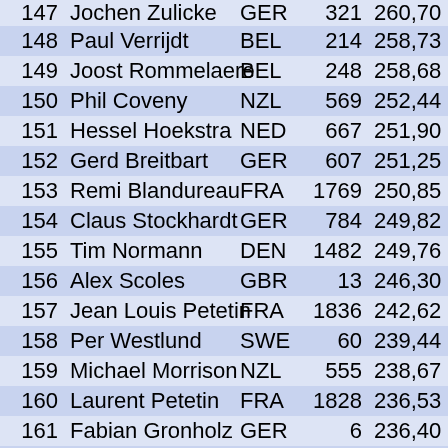| Rank | Name | Nat | ID | Points | Races |
| --- | --- | --- | --- | --- | --- |
| 147 | Jochen Zulicke | GER | 321 | 260,70 | 6 |
| 148 | Paul Verrijdt | BEL | 214 | 258,73 | 4 |
| 149 | Joost Rommelaere | BEL | 248 | 258,68 | 7 |
| 150 | Phil Coveny | NZL | 569 | 252,44 | 7 |
| 151 | Hessel Hoekstra | NED | 667 | 251,90 | 10 |
| 152 | Gerd Breitbart | GER | 607 | 251,25 | 5 |
| 153 | Remi Blandureau | FRA | 1769 | 250,85 | 8 |
| 154 | Claus Stockhardt | GER | 784 | 249,82 | 9 |
| 155 | Tim Normann | DEN | 1482 | 249,76 | 5 |
| 156 | Alex Scoles | GBR | 13 | 246,30 | 3 |
| 157 | Jean Louis Petetin | FRA | 1836 | 242,62 | 4 |
| 158 | Per Westlund | SWE | 60 | 239,44 | 5 |
| 159 | Michael Morrison | NZL | 555 | 238,67 | 4 |
| 160 | Laurent Petetin | FRA | 1828 | 236,53 | 4 |
| 161 | Fabian Gronholz | GER | 6 | 236,40 | 4 |
| 162 | Peter Heide | DEN | 1442 | 233,95 | 3 |